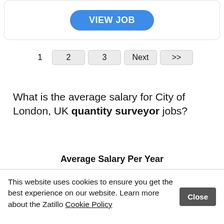[Figure (screenshot): Blue 'VIEW JOB' button inside a rounded card]
1  2  3  Next  >>
What is the average salary for City of London, UK quantity surveyor jobs?
Average Salary Per Year
£54,820
This website uses cookies to ensure you get the best experience on our website. Learn more about the Zatillo Cookie Policy